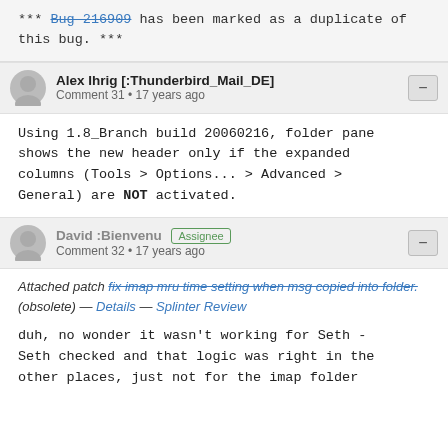*** Bug 216909 has been marked as a duplicate of this bug. ***
Alex Ihrig [:Thunderbird_Mail_DE] Comment 31 • 17 years ago
Using 1.8_Branch build 20060216, folder pane shows the new header only if the expanded columns (Tools > Options... > Advanced > General) are NOT activated.
David :Bienvenu Assignee Comment 32 • 17 years ago
Attached patch fix imap mru time setting when msg copied into folder. (obsolete) — Details — Splinter Review
duh, no wonder it wasn't working for Seth - Seth checked and that logic was right in the other places, just not for the imap folder